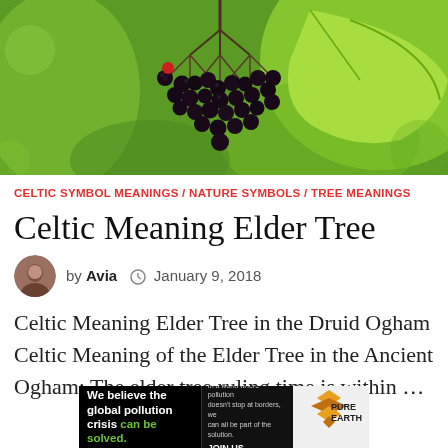[Figure (photo): Close-up photo of dark elderberries cluster hanging with green leaves in background]
CELTIC SYMBOL MEANINGS / NATURE SYMBOLS / TREE MEANINGS
Celtic Meaning Elder Tree
by Avia  January 9, 2018
Celtic Meaning Elder Tree in the Druid Ogham Celtic Meaning of the Elder Tree in the Ancient Ogham: The elder tree ruling time is within …
[Figure (infographic): Advertisement banner: We believe the global pollution crisis can be solved. Pure Earth logo.]